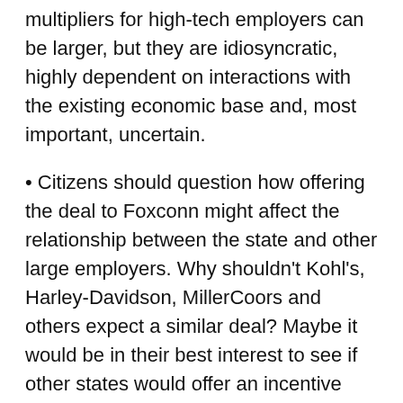multipliers for high-tech employers can be larger, but they are idiosyncratic, highly dependent on interactions with the existing economic base and, most important, uncertain.
Citizens should question how offering the deal to Foxconn might affect the relationship between the state and other large employers. Why shouldn't Kohl's, Harley-Davidson, MillerCoors and others expect a similar deal? Maybe it would be in their best interest to see if other states would offer an incentive package if Wisconsin isn't willing to do so.
The physical enormity of the proposed Foxconn plant is an irreversible investment, and a large one